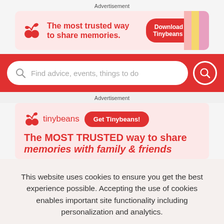Advertisement
[Figure (illustration): Tinybeans banner ad: logo with plant/cherries icon, text 'The most trusted way to share memories.', and a red 'Download the Tinybeans app' button]
[Figure (screenshot): Red search bar with magnifying glass icon and placeholder text 'Find advice, events, things to do' and red search button]
Advertisement
[Figure (illustration): Tinybeans ad: logo with plant icon and 'tinybeans' text, 'Get Tinybeans!' red button, headline 'The MOST TRUSTED way to share memories with family & friends']
This website uses cookies to ensure you get the best experience possible. Accepting the use of cookies enables important site functionality including personalization and analytics.
Accept
Decline